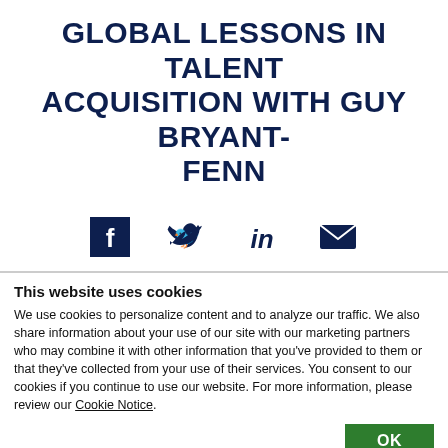GLOBAL LESSONS IN TALENT ACQUISITION WITH GUY BRYANT-FENN
[Figure (infographic): Social media share icons: Facebook, Twitter, LinkedIn, Email (envelope)]
This website uses cookies
We use cookies to personalize content and to analyze our traffic. We also share information about your use of our site with our marketing partners who may combine it with other information that you've provided to them or that they've collected from your use of their services. You consent to our cookies if you continue to use our website. For more information, please review our Cookie Notice.